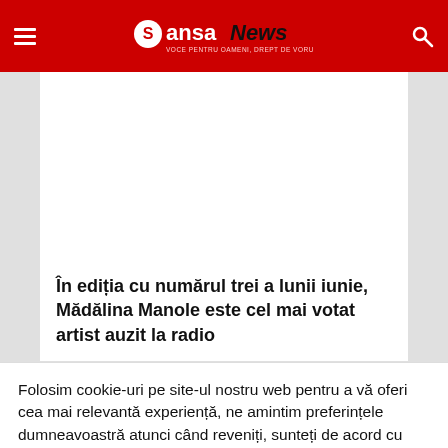SansaNews
[Figure (photo): Article image placeholder (white area)]
În ediția cu numărul trei a lunii iunie, Mădălina Manole este cel mai votat artist auzit la radio
Folosim cookie-uri pe site-ul nostru web pentru a vă oferi cea mai relevantă experiență, ne amintim preferințele dumneavoastră atunci când reveniți, sunteți de acord cu utilizarea tuturor cookie-urilor.
Setează Cookie | ACCEPT